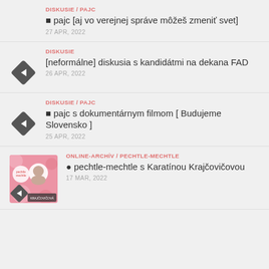DISKUSIE / PAJC | ■ pajc [aj vo verejnej správe môžeš zmeniť svet] | 27 APR, 2022
DISKUSIE | [neformálne] diskusia s kandidátmi na dekana FAD | 26 APR, 2022
DISKUSIE / PAJC | ■ pajc s dokumentárnym filmom [ Budujeme Slovensko ] | 25 APR, 2022
ONLINE-ARCHÍV / PECHTLE-MECHTLE | ● pechtle-mechtle s Karatínou Krajčovičovou | 17 MAR, 2022